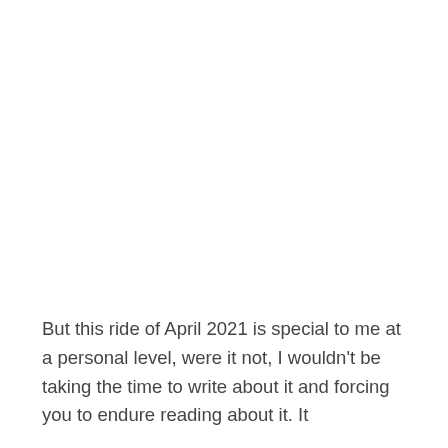But this ride of April 2021 is special to me at a personal level, were it not, I wouldn't be taking the time to write about it and forcing you to endure reading about it. It